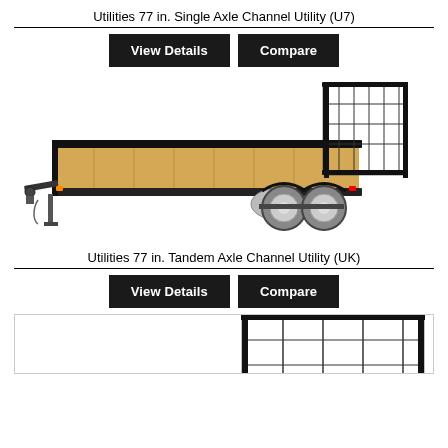Utilities 77 in. Single Axle Channel Utility (U7)
[Figure (other): Two black buttons side by side: 'View Details' and 'Compare']
[Figure (photo): Black utility trailer with wood deck floor, mesh rear gate, dual axle wheels, and front jack stand]
Utilities 77 in. Tandem Axle Channel Utility (UK)
[Figure (other): Two black buttons side by side: 'View Details' and 'Compare']
[Figure (photo): Partial view of a black utility trailer with mesh gate panel, cropped at bottom of page]